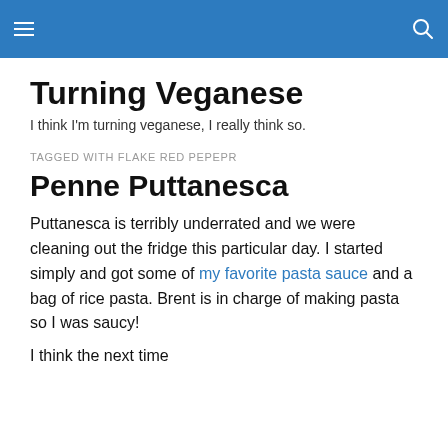Turning Veganese
Turning Veganese
I think I'm turning veganese, I really think so.
TAGGED WITH FLAKE RED PEPEPR
Penne Puttanesca
Puttanesca is terribly underrated and we were cleaning out the fridge this particular day. I started simply and got some of my favorite pasta sauce and a bag of rice pasta. Brent is in charge of making pasta so I was saucy!
I think the next time...